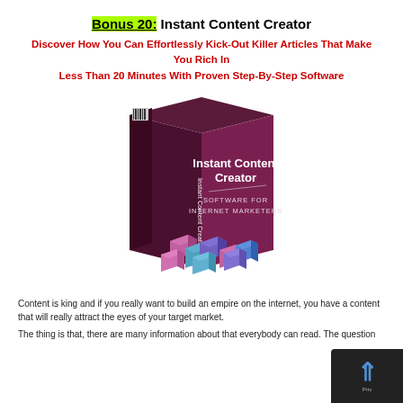Bonus 20: Instant Content Creator
Discover How You Can Effortlessly Kick-Out Killer Articles That Make You Rich In Less Than 20 Minutes With Proven Step-By-Step Software
[Figure (illustration): 3D software box for 'Instant Content Creator - Software for Internet Marketers' with dark purple/maroon color and decorative 3D cube designs at the bottom]
Content is king and if you really want to build an empire on the internet, you have a content that will really attract the eyes of your target market.
The thing is that, there are many information about that everybody can read. The question